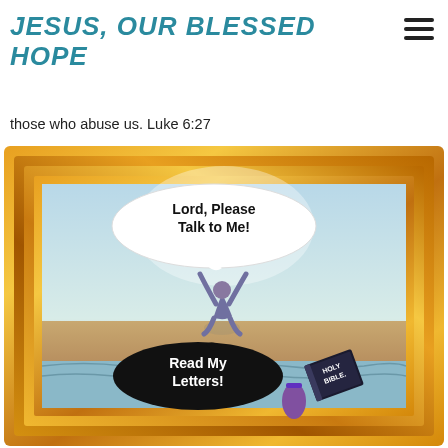JESUS, OUR BLESSED HOPE
those who abuse us. Luke 6:27
[Figure (illustration): Framed illustration in a gold ornate frame showing two scenes: a person kneeling with arms raised upward toward a speech bubble saying 'Lord, Please Talk to Me!' and below, a black oval speech bubble responding 'Read My Letters!' with a Holy Bible depicted in the lower right corner.]